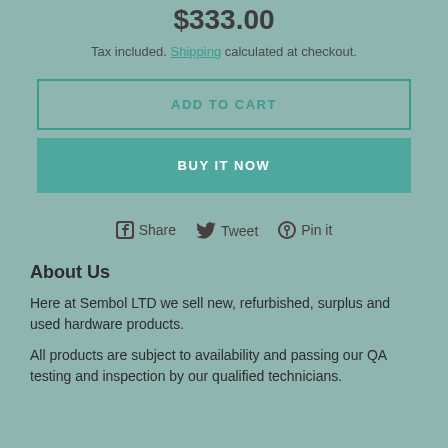$333.00
Tax included. Shipping calculated at checkout.
ADD TO CART
BUY IT NOW
Share  Tweet  Pin it
About Us
Here at Sembol LTD we sell new, refurbished, surplus and used hardware products.
All products are subject to availability and passing our QA testing and inspection by our qualified technicians.